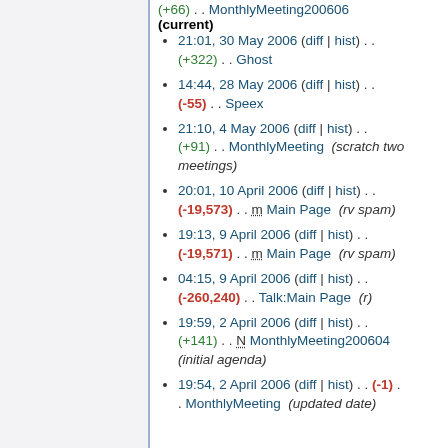(+66) . . MonthlyMeeting200606 (current)
21:01, 30 May 2006 (diff | hist) . . (+322) . . Ghost
14:44, 28 May 2006 (diff | hist) . . (-55) . . Speex
21:10, 4 May 2006 (diff | hist) . . (+91) . . MonthlyMeeting (scratch two meetings)
20:01, 10 April 2006 (diff | hist) . . (-19,573) . . m Main Page (rv spam)
19:13, 9 April 2006 (diff | hist) . . (-19,571) . . m Main Page (rv spam)
04:15, 9 April 2006 (diff | hist) . . (-260,240) . . Talk:Main Page (r)
19:59, 2 April 2006 (diff | hist) . . (+141) . . N MonthlyMeeting200604 (initial agenda)
19:54, 2 April 2006 (diff | hist) . . (-1) . . MonthlyMeeting (updated date)